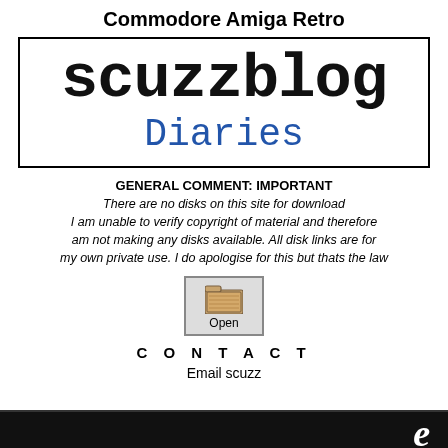Commodore Amiga Retro
[Figure (logo): scuzzblog Diaries logo in a double-lined box. 'scuzzblog' in large black monospace bold, 'Diaries' in blue monospace below.]
GENERAL COMMENT: IMPORTANT
There are no disks on this site for download
I am unable to verify copyright of material and therefore am not making any disks available. All disk links are for my own private use. I do apologise for this but thats the law
[Figure (screenshot): A folder icon button labeled 'Open']
C O N T A C T
Email scuzz
[Figure (illustration): Black banner at bottom with white italic letter 'e' on the right side]